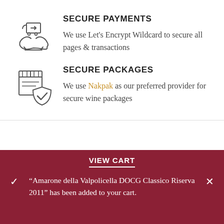[Figure (illustration): Shopping cart held by hands icon — secure payments symbol]
SECURE PAYMENTS
We use Let's Encrypt Wildcard to secure all pages & transactions
[Figure (illustration): Package box with shield and checkmark icon — secure packages symbol]
SECURE PACKAGES
We use Nakpak as our preferred provider for secure wine packages
We use cookies to improve your experience on our website. By browsing this website, you agree to our use of
VIEW CART
“Amarone della Valpolicella DOCG Classico Riserva 2011” has been added to your cart.